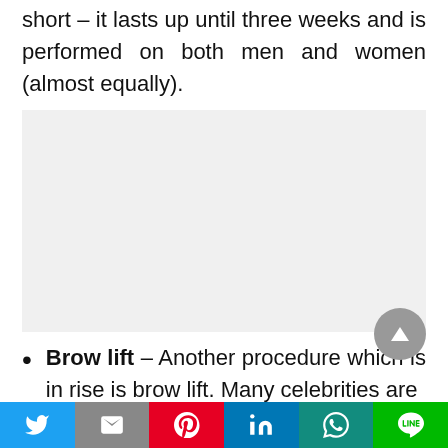short – it lasts up until three weeks and is performed on both men and women (almost equally).
[Figure (photo): Gray placeholder image block]
Brow lift – Another procedure which is in rise is brow lift. Many celebrities are
Social sharing bar with Twitter, Mail, Pinterest, LinkedIn, WhatsApp, Line buttons